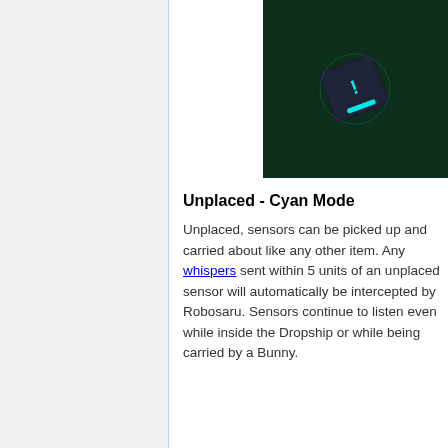[Figure (photo): Dark green background with a small dark cube/sensor device displaying cyan/teal glowing markings - an exclamation mark and a dash symbol]
Unplaced - Cyan Mode
Unplaced, sensors can be picked up and carried about like any other item. Any whispers sent within 5 units of an unplaced sensor will automatically be intercepted by Robosaru. Sensors continue to listen even while inside the Dropship or while being carried by a Bunny.
[Figure (photo): Dark green/teal background image showing bottom portion of a sensor device]